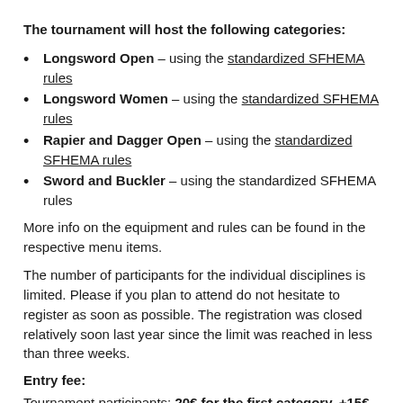The tournament will host the following categories:
Longsword Open – using the standardized SFHEMA rules
Longsword Women – using the standardized SFHEMA rules
Rapier and Dagger Open – using the standardized SFHEMA rules
Sword and Buckler – using the standardized SFHEMA rules
More info on the equipment and rules can be found in the respective menu items.
The number of participants for the individual disciplines is limited. Please if you plan to attend do not hesitate to register as soon as possible. The registration was closed relatively soon last year since the limit was reached in less than three weeks.
Entry fee:
Tournament participants: 20€ for the first category, +15€ for the second, +10€ for the third.